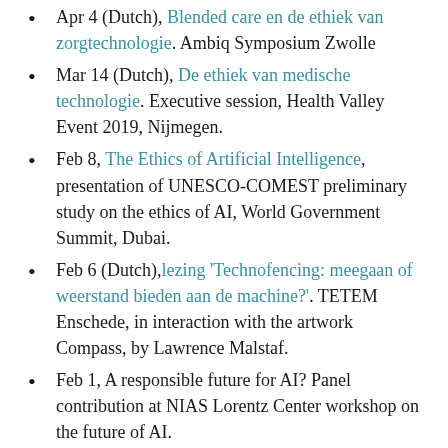Apr 4 (Dutch), Blended care en de ethiek van zorgtechnologie. Ambiq Symposium Zwolle
Mar 14 (Dutch), De ethiek van medische technologie. Executive session, Health Valley Event 2019, Nijmegen.
Feb 8, The Ethics of Artificial Intelligence, presentation of UNESCO-COMEST preliminary study on the ethics of AI, World Government Summit, Dubai.
Feb 6 (Dutch), lezing 'Technofencing: meegaan of weerstand bieden aan de machine?'. TETEM Enschede, in interaction with the artwork Compass, by Lawrence Malstaf.
Feb 1, A responsible future for AI? Panel contribution at NIAS Lorentz Center workshop on the future of AI.